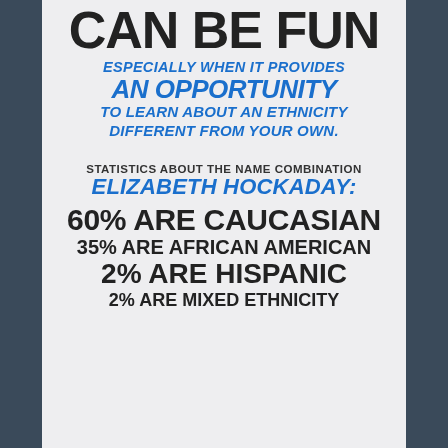CAN BE FUN
ESPECIALLY WHEN IT PROVIDES AN OPPORTUNITY TO LEARN ABOUT AN ETHNICITY DIFFERENT FROM YOUR OWN.
STATISTICS ABOUT THE NAME COMBINATION ELIZABETH HOCKADAY:
60% ARE CAUCASIAN
35% ARE AFRICAN AMERICAN
2% ARE HISPANIC
2% ARE MIXED ETHNICITY